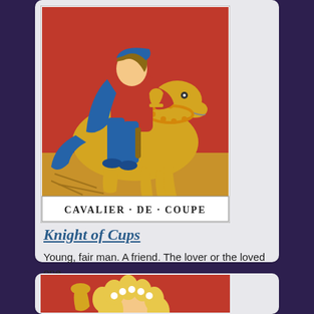[Figure (illustration): Tarot card illustration of the Knight of Cups (Cavalier de Coupe) showing a knight in red and blue clothing riding a golden/yellow horse, with the text 'CAVALIER·DE·COUPE' at the bottom of the card on a white banner.]
Knight of Cups
Young, fair man. A friend. The lover or the loved one.
[Figure (illustration): Partial tarot card illustration showing a figure with blonde curly hair and a floral crown, holding what appears to be a golden cup, on a red background.]